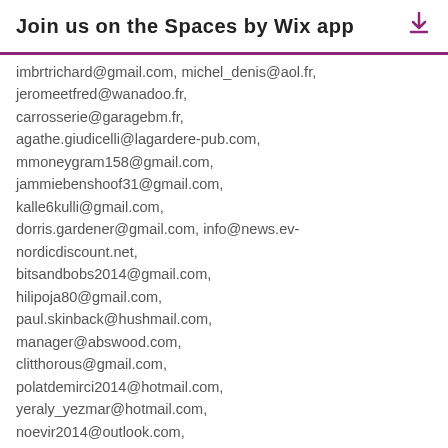Join us on the Spaces by Wix app
imbrtrichard@gmail.com, michel_denis@aol.fr, jeromeetfred@wanadoo.fr, carrosserie@garagebm.fr, agathe.giudicelli@lagardere-pub.com, mmoneygram158@gmail.com, jammiebenshoof31@gmail.com, kalle6kulli@gmail.com, dorris.gardener@gmail.com, info@news.ev-nordicdiscount.net, bitsandbobs2014@gmail.com, hilipoja80@gmail.com, paul.skinback@hushmail.com, manager@abswood.com, clitthorous@gmail.com, polatdemirci2014@hotmail.com, yeraly_yezmar@hotmail.com, noevir2014@outlook.com, bark.island@live.com, adrianaaxzv@wack.at, su66katonga@qq.com, clarencemwarren@gmail.com, olssonhasse15@hotmail.com, jamesgodwin3535@yahoo.co.jp, dannyoliver@hushmail.com,